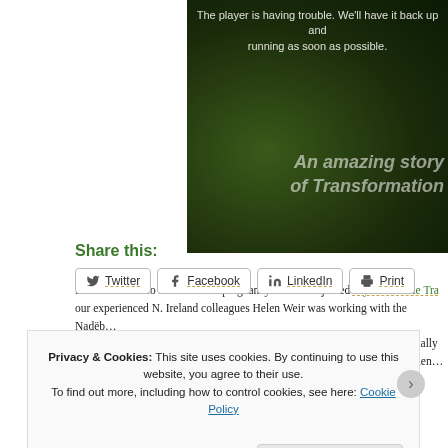[Figure (screenshot): Video player error overlay on a dark green leafy background. Text reads: 'The player is having trouble. We'll have it back up and running as soon as possible.' Overlaid italic text: 'An amazing story of Transformation']
For me this video had an added poignancy. When we joined Wycliffe Bible Tra... our experienced N. Ireland colleagues Helen Weir was working with the Nadëb... unfortunately had to return home to look after her aging mother and eventually... for years she made occasional trips back and kept in contact with Nadëb frien... Helen that I first heard the story of Socorro, who features in the video.
Share this:
Twitter  Facebook  LinkedIn  Print
Privacy & Cookies: This site uses cookies. By continuing to use this website, you agree to their use.
To find out more, including how to control cookies, see here: Cookie Policy
Close and accept